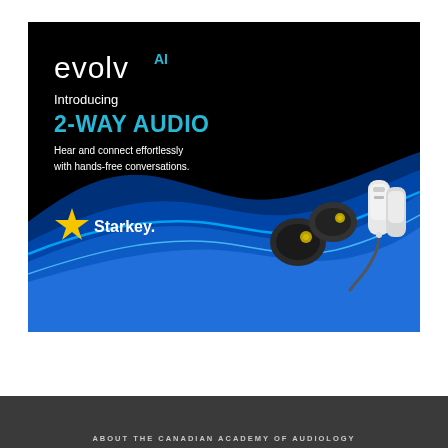[Figure (advertisement): Starkey Evolv AI hearing aid advertisement on black background with blue wave design. Text reads: evolv AI, Introducing 2-WAY AUDIO, Hear and connect effortlessly with hands-free conversations. Starkey logo with gold star. Images of dark and white hearing aid devices on right side with blue wave motif.]
ABOUT THE CANADIAN ACADEMY OF AUDIOLOGY